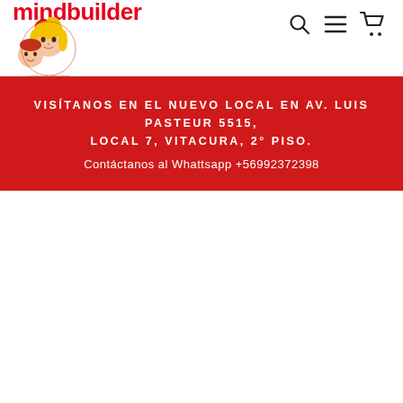[Figure (logo): Mindbuilder logo with red text 'mindbuilder' and illustrated children characters, circular badge]
[Figure (other): Navigation icons: search magnifying glass, hamburger menu, shopping cart]
VISÍTANOS EN EL NUEVO LOCAL EN AV. LUIS PASTEUR 5515, LOCAL 7, VITACURA, 2° PISO. Contáctanos al Whattsapp +56992372398